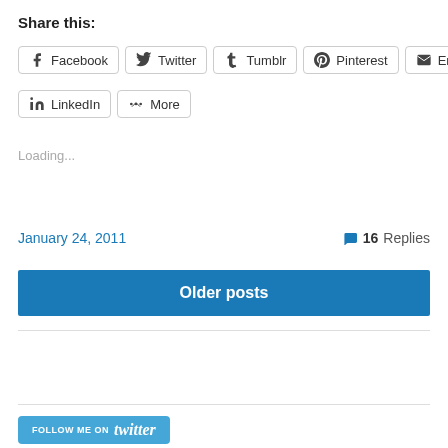Share this:
Facebook  Twitter  Tumblr  Pinterest  Email  LinkedIn  More
Loading...
January 24, 2011
16 Replies
Older posts
[Figure (other): FOLLOW ME ON twitter button/badge]